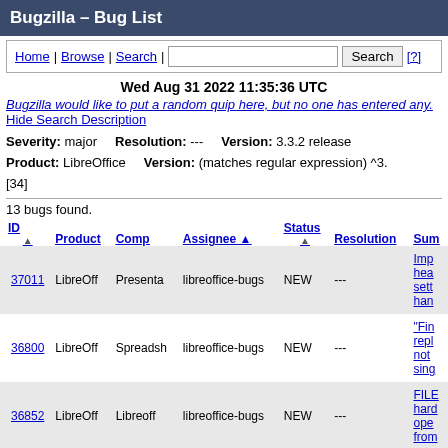Bugzilla – Bug List
Home | Browse | Search | [Search box] [Search] [?]
Wed Aug 31 2022 11:35:36 UTC
Bugzilla would like to put a random quip here, but no one has entered any. Hide Search Description
Severity: major   Resolution: ---   Version: 3.3.2 release
Product: LibreOffice   Version: (matches regular expression) ^3.
[34]
13 bugs found.
| ID | Product | Comp | Assignee ▲ | Status | Resolution | Sum |
| --- | --- | --- | --- | --- | --- | --- |
| 37011 | LibreOff | Presenta | libreoffice-bugs | NEW | --- | Imp
hea
sett
han |
| 36800 | LibreOff | Spreadsh | libreoffice-bugs | NEW | --- | "Fin
repl
not
sing |
| 36852 | LibreOff | Libreoff | libreoffice-bugs | NEW | --- | FILE
hard
ope
from |